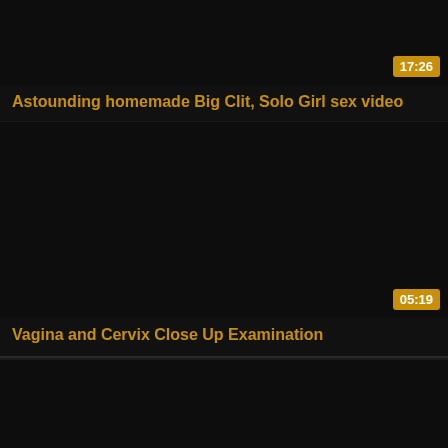[Figure (screenshot): Black video thumbnail for first video card with duration badge 17:26 in bottom right corner]
Astounding homemade Big Clit, Solo Girl sex video
[Figure (screenshot): Black video thumbnail for second video card with duration badge 05:19 in bottom right corner]
Vagina and Cervix Close Up Examination
[Figure (screenshot): Black video thumbnail for third video card, partially visible at bottom]